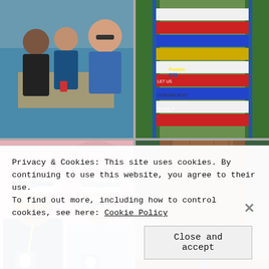[Figure (photo): Top-left photo: group of people sitting outdoors near water, casual setting]
[Figure (photo): Top-right photo: colorful painted stairs with red, blue, yellow stripes and text, lush green plants on sides]
[Figure (photo): Bottom-left photo: two men wearing white visors and sunglasses dressed as Ted Lasso characters, blue team jackets with llama logo]
[Figure (photo): Bottom-right photo: person in blue outfit standing with arms raised in front of a massive sequoia tree trunk in a forest]
Privacy & Cookies: This site uses cookies. By continuing to use this website, you agree to their use.
To find out more, including how to control cookies, see here: Cookie Policy
Close and accept